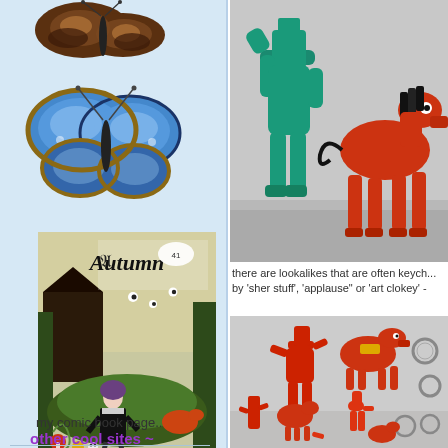[Figure (illustration): Dark/brown butterfly at top of left column]
[Figure (illustration): Blue morpho butterfly below the first one]
[Figure (illustration): Autumn comic book cover illustration showing gothic girl in dark forest setting]
my comic book page..
other cool sites ~
[Figure (photo): Photo of Gumby (green) and Pokey (red/orange horse) toy figures on gray background]
there are lookalikes that are often keych... by 'sher stuff', 'applause" or 'art clokey' -
[Figure (photo): Photo of multiple red Gumby and Pokey keychain/small figures]